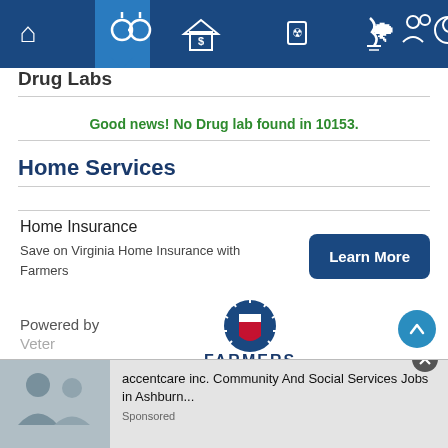[Figure (screenshot): Navigation bar with icons: house, handcuffs/arrest records (active/highlighted), dollar-sign house, document, tornado, people, info circle — dark blue background with active tab indicator arrow]
Drug Labs
Good news! No Drug lab found in 10153.
Home Services
Home Insurance
Save on Virginia Home Insurance with Farmers
[Figure (logo): Farmers Insurance logo — blue sunburst shield with red shield, text FARMERS in dark blue and INSURANCE in red]
Powered by
[Figure (screenshot): Ad banner: accentcare inc. Community And Social Services Jobs in Ashburn... Sponsored]
Vete
accentcare inc. Community And Social Services Jobs in Ashburn...
Sponsored